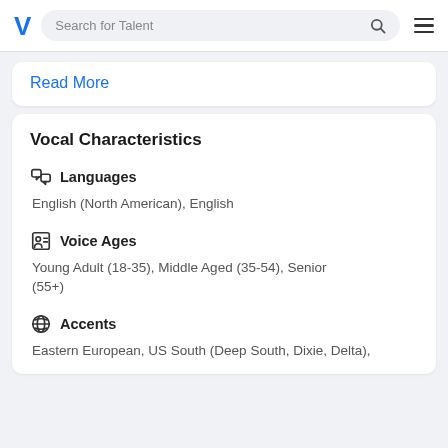Search for Talent
Read More
Vocal Characteristics
Languages
English (North American), English
Voice Ages
Young Adult (18-35), Middle Aged (35-54), Senior (55+)
Accents
Eastern European, US South (Deep South, Dixie, Delta),